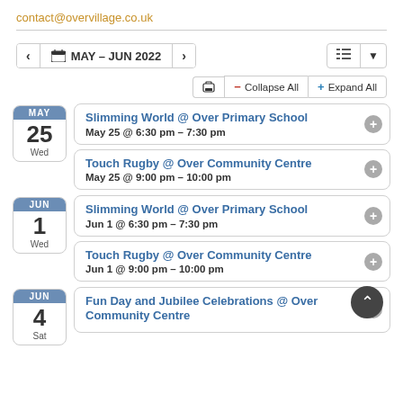contact@overvillage.co.uk
MAY 25 Wed — Slimming World @ Over Primary School, May 25 @ 6:30 pm – 7:30 pm
MAY 25 Wed — Touch Rugby @ Over Community Centre, May 25 @ 9:00 pm – 10:00 pm
JUN 1 Wed — Slimming World @ Over Primary School, Jun 1 @ 6:30 pm – 7:30 pm
JUN 1 Wed — Touch Rugby @ Over Community Centre, Jun 1 @ 9:00 pm – 10:00 pm
JUN 4 Sat — Fun Day and Jubilee Celebrations @ Over Community Centre